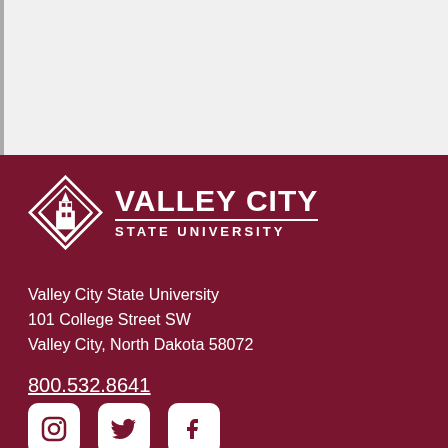[Figure (logo): Valley City State University logo with diamond shield icon and university name in white on maroon background]
Valley City State University
101 College Street SW
Valley City, North Dakota 58072
800.532.8641
[Figure (other): Social media icons: Instagram, Twitter, Facebook — white rounded square buttons on maroon background]